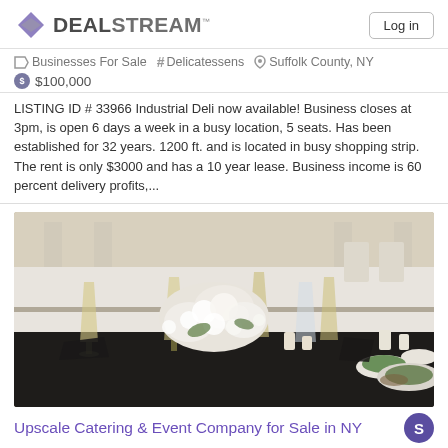DEALSTREAM™
Businesses For Sale  #  Delicatessens  Suffolk County, NY
$100,000
LISTING ID # 33966 Industrial Deli now available! Business closes at 3pm, is open 6 days a week in a busy location, 5 seats. Has been established for 32 years. 1200 ft. and is located in busy shopping strip. The rent is only $3000 and has a 10 year lease. Business income is 60 percent delivery profits,...
[Figure (photo): Elegant catering event table setup with champagne flutes, white floral centerpieces, and black napkins on white tablecloths in a banquet hall]
Upscale Catering & Event Company for Sale in NY
Businesses For Sale  #  Catering Services  Suffolk County, NY
$1,250,000